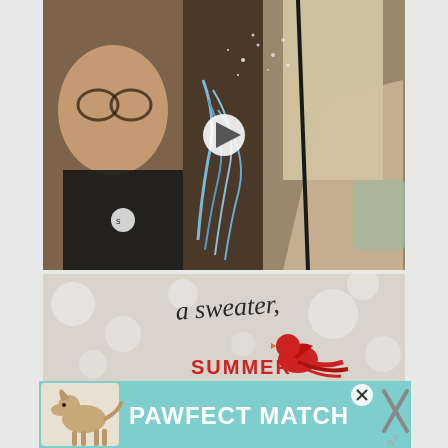[Figure (photo): A photo/video thumbnail showing two people, one with blonde hair and glasses wearing a black shirt, another person, with what appears to be a craft or fiber art project with blue strands, near a window. A white play button is overlaid indicating it is a video.]
[Figure (photo): A close-up photo of what appears to be a handmade card or book page with handwritten text 'a sweater,' and a red cardinal bird illustration, with text 'SUMMER' in red below.]
[Figure (photo): Advertisement banner with teal background showing a dog (appears to be a greyhound or whippet) and text 'PAWFECT MATCH' in white bold letters, with close/dismiss buttons on the right.]